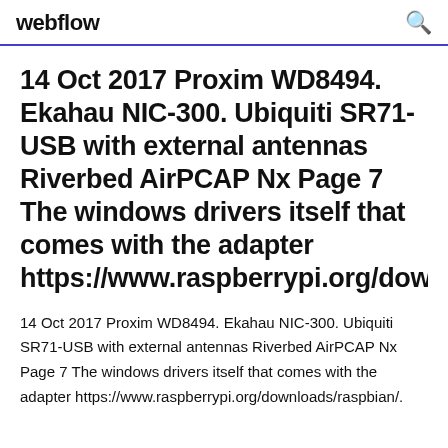webflow
14 Oct 2017 Proxim WD8494. Ekahau NIC-300. Ubiquiti SR71-USB with external antennas Riverbed AirPCAP Nx Page 7 The windows drivers itself that comes with the adapter https://www.raspberrypi.org/downloa
14 Oct 2017 Proxim WD8494. Ekahau NIC-300. Ubiquiti SR71-USB with external antennas Riverbed AirPCAP Nx Page 7 The windows drivers itself that comes with the adapter https://www.raspberrypi.org/downloads/raspbian/.